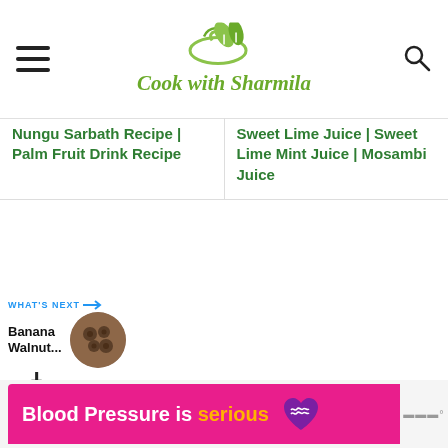Cook with Sharmila
Nungu Sarbath Recipe | Palm Fruit Drink Recipe
Sweet Lime Juice | Sweet Lime Mint Juice | Mosambi Juice
[Figure (illustration): Heart/like icon button (blue circle with white heart), count '1', and share icon]
WHAT'S NEXT → Banana Walnut...
[Figure (photo): Circular thumbnail of banana walnut dish]
[Figure (infographic): Ad banner: Blood Pressure is serious, pink background with purple heart logo]
Blood Pressure is serious